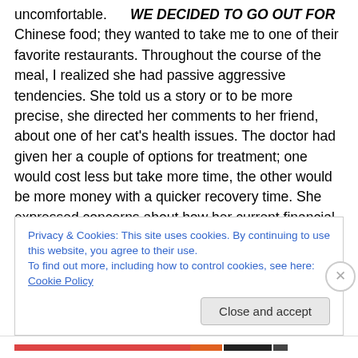uncomfortable.    WE DECIDED TO GO OUT FOR Chinese food; they wanted to take me to one of their favorite restaurants. Throughout the course of the meal, I realized she had passive aggressive tendencies. She told us a story or to be more precise, she directed her comments to her friend, about one of her cat's health issues. The doctor had given her a couple of options for treatment; one would cost less but take more time, the other would be more money with a quicker recovery time. She expressed concerns about how her current financial situation would barely cover the cheaper treatment. With
Privacy & Cookies: This site uses cookies. By continuing to use this website, you agree to their use.
To find out more, including how to control cookies, see here: Cookie Policy